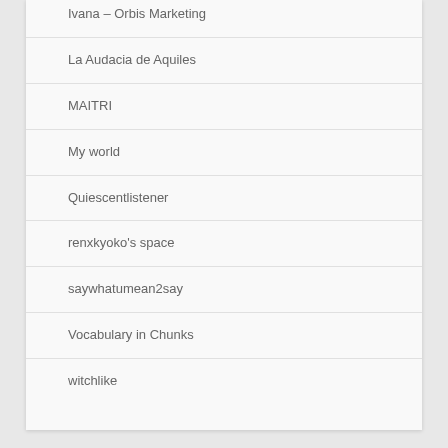Ivana – Orbis Marketing
La Audacia de Aquiles
MAITRI
My world
Quiescentlistener
renxkyoko's space
saywhatumean2say
Vocabulary in Chunks
witchlike